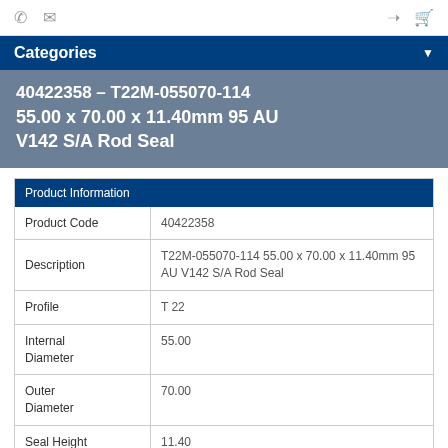phone | email | login | cart
Categories
40422358 - T22M-055070-114 55.00 x 70.00 x 11.40mm 95 AU V142 S/A Rod Seal
| Product Information |
| --- |
| Product Code | 40422358 |
| Description | T22M-055070-114 55.00 x 70.00 x 11.40mm 95 AU V142 S/A Rod Seal |
| Profile | T 22 |
| Internal Diameter | 55.00 |
| Outer Diameter | 70.00 |
| Seal Height | 11.40 |
| Max. Temp C | 110 |